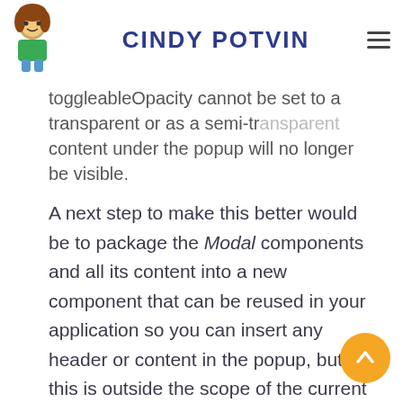CINDY POTVIN
toggleableOpacity cannot be set to a transparent or as a semi-transparent content under the popup will no longer be visible.
A next step to make this better would be to package the Modal components and all its content into a new component that can be reused in your application so you can insert any header or content in the popup, but this is outside the scope of the current article.
If you want to execute the final version yourself and try it out, you can see it on GitHub here: https://github.com/CindyPotvin/react-native-popup and as an Expo Snack here: https://snack.expo.dev/@cindyptn/react-native-popup-with-a-button